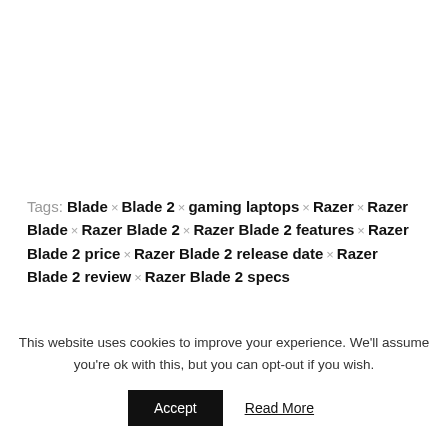Tags: Blade × Blade 2 × gaming laptops × Razer × Razer Blade × Razer Blade 2 × Razer Blade 2 features × Razer Blade 2 price × Razer Blade 2 release date × Razer Blade 2 review × Razer Blade 2 specs
This website uses cookies to improve your experience. We'll assume you're ok with this, but you can opt-out if you wish.